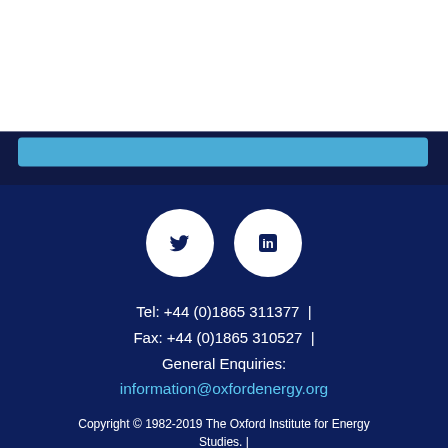[Figure (photo): Pipeline infrastructure photo with dark blue overlay and a light blue rectangular bar element at the top]
[Figure (illustration): Two white circular social media icons: Twitter bird icon and LinkedIn 'in' icon, on dark navy blue background]
Tel: +44 (0)1865 311377  |
Fax: +44 (0)1865 310527  |
General Enquiries:
information@oxfordenergy.org
Copyright © 1982-2019 The Oxford Institute for Energy Studies. |